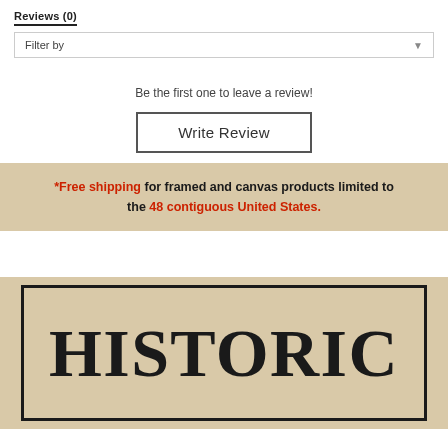Reviews (0)
Filter by
Be the first one to leave a review!
Write Review
*Free shipping for framed and canvas products limited to the 48 contiguous United States.
[Figure (illustration): Bottom portion of a 'HISTORIC' branded image/logo on a tan/beige textured background with a rectangular border frame, showing the word HISTORIC in large serif bold font.]